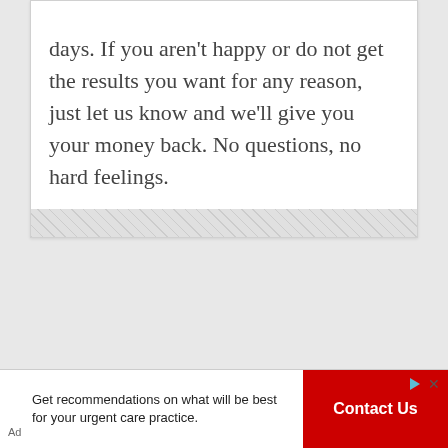days. If you aren't happy or do not get the results you want for any reason, just let us know and we'll give you your money back. No questions, no hard feelings.
[Figure (other): Advertisement banner: text says 'Get recommendations on what will be best for your urgent care practice.' with a red 'Contact Us' button, Ad label at bottom left, and navigation icons at top right of button area.]